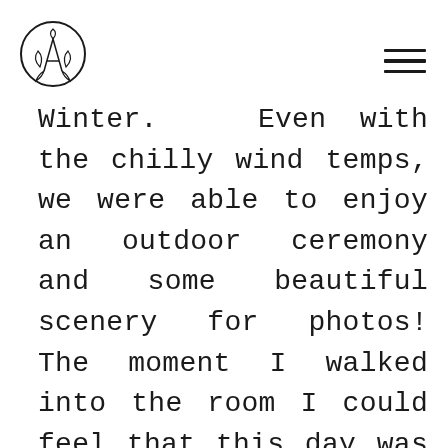[Logo] [Menu icon]
Winter.  Even with the chilly wind temps, we were able to enjoy an outdoor ceremony and some beautiful scenery for photos! The moment I walked into the room I could feel that this day was something extra special. Steph's joyful energy literally filled the space! Aaron & Stephanie had a chance meeting many years ago when